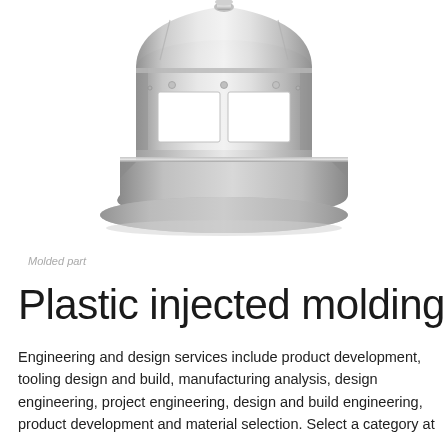[Figure (photo): A cylindrical aluminum molded/machined part with a dome-shaped top, rectangular cutout windows around the lower body, small holes, and a threaded fitting at the very top. The part has a polished silver metallic finish.]
Molded part
Plastic injected molding
Engineering and design services include product development, tooling design and build, manufacturing analysis, design engineering, project engineering, design and build engineering, product development and material selection. Select a category at